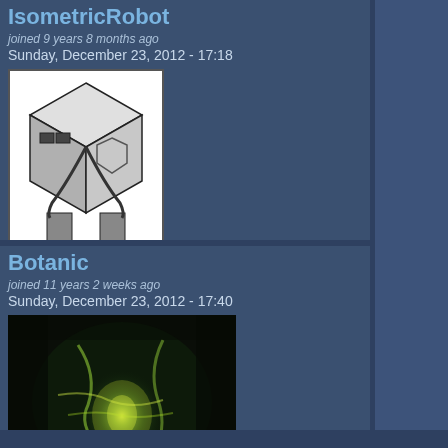IsometricRobot
joined 9 years 8 months ago
Sunday, December 23, 2012 - 17:18
[Figure (illustration): Pixel art of an isometric robot/cube character in black and white]
Sweet. I have things back to
Botanic
joined 11 years 2 weeks ago
Sunday, December 23, 2012 - 17:40
[Figure (photo): Abstract glowing green/yellow light in dark tunnel or forest scene]
When everyth